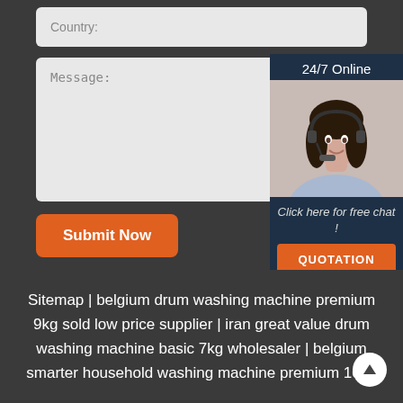Country:
Message:
Submit Now
[Figure (photo): Chat widget showing 24/7 Online header, woman with headset, Click here for free chat! text, and QUOTATION button]
Sitemap | belgium drum washing machine premium 9kg sold low price supplier | iran great value drum washing machine basic 7kg wholesaler | belgium smarter household washing machine premium 10kg